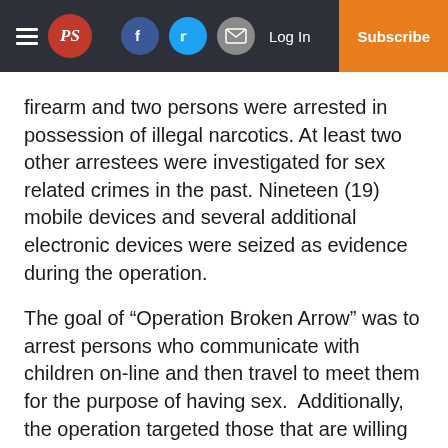PS [logo] | Facebook | Twitter | Email | Log In | Subscribe
firearm and two persons were arrested in possession of illegal narcotics. At least two other arrestees were investigated for sex related crimes in the past. Nineteen (19) mobile devices and several additional electronic devices were seized as evidence during the operation.
The goal of “Operation Broken Arrow” was to arrest persons who communicate with children on-line and then travel to meet them for the purpose of having sex.  Additionally, the operation targeted those that are willing to exploit children by purchasing sex with a minor. On-line child predators visit chat rooms and